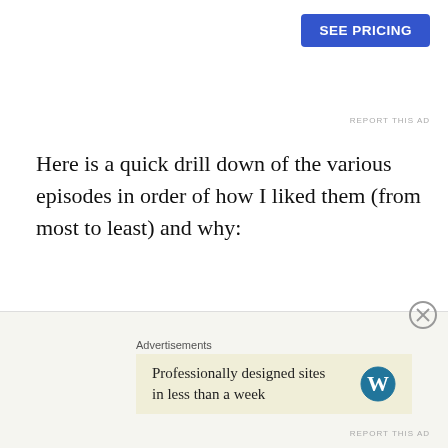SEE PRICING
REPORT THIS AD
Here is a quick drill down of the various episodes in order of how I liked them (from most to least) and why:
Phoringer Bou | Director : Arka Ganguly
This is possibly the simplest of all the stories in the series and makes simplicity its core strength as it sets out to explore love and attachment through the eyes of an innocent little kid. The star of the story is the brilliant performance by Krittika Chakraborty playing a shy introverted girl, who lives in her own little world and
Advertisements
Professionally designed sites in less than a week
REPORT THIS AD